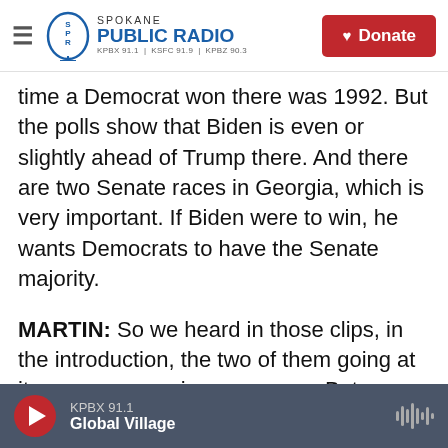Spokane Public Radio — KPBX 91.1 | KSFC 91.9 | KPBZ 90.3 — Donate
time a Democrat won there was 1992. But the polls show that Biden is even or slightly ahead of Trump there. And there are two Senate races in Georgia, which is very important. If Biden were to win, he wants Democrats to have the Senate majority.
MARTIN: So we heard in those clips, in the introduction, the two of them going at it over a coronavirus response. But more broadly, what are their closing arguments?
LIASSON: Right. Well, the closing arguments are a lot about COVID - for Trump, COVID's over; for
KPBX 91.1 — Global Village